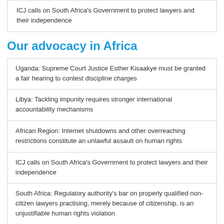ICJ calls on South Africa's Government to protect lawyers and their independence
Our advocacy in Africa
Uganda: Supreme Court Justice Esther Kisaakye must be granted a fair hearing to contest discipline charges
Libya: Tackling impunity requires stronger international accountability mechanisms
African Region: Internet shutdowns and other overreaching restrictions constitute an unlawful assault on human rights
ICJ calls on South Africa's Government to protect lawyers and their independence
South Africa: Regulatory authority's bar on properly qualified non-citizen lawyers practising, merely because of citizenship, is an unjustifiable human rights violation